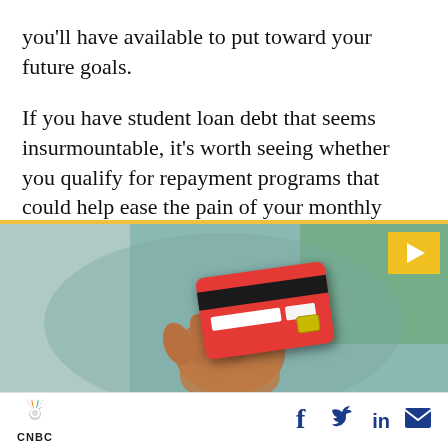you'll have available to put toward your future goals.
If you have student loan debt that seems insurmountable, it's worth seeing whether you qualify for repayment programs that could help ease the pain of your monthly obligation.
[Figure (screenshot): Video thumbnail showing a person holding a red credit card, with a yellow play button in the top right corner, yellow 'VIDEO' label and timestamp '01:23' at the bottom left. The video player has a yellow top border and teal bottom border.]
CNBC logo with peacock icon; social share icons: Facebook, Twitter, LinkedIn, Email